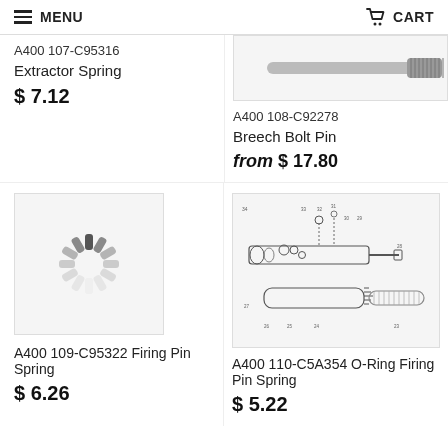MENU   CART
A400 107-C95316 Extractor Spring
$ 7.12
[Figure (photo): Partial product image of a spring/rod part (top right, cropped)]
A400 108-C92278 Breech Bolt Pin
from $ 17.80
[Figure (illustration): Loading spinner (gray radial dashes)]
A400 109-C95322 Firing Pin Spring
$ 6.26
[Figure (engineering-diagram): Technical exploded-view diagram of breech bolt assembly with numbered parts and connecting rods]
A400 110-C5A354 O-Ring Firing Pin Spring
$ 5.22